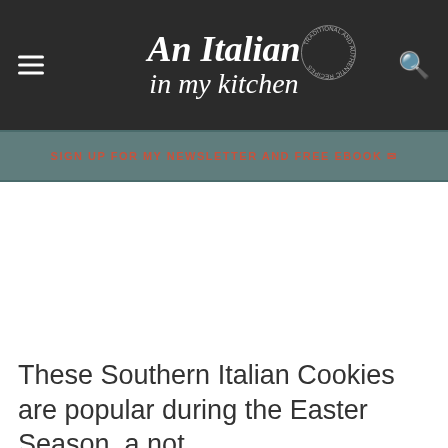An Italian in my kitchen
SIGN UP FOR MY NEWSLETTER AND FREE EBOOK ✉
[Figure (other): Advertisement / blank white space area]
These Southern Italian Cookies are popular during the Easter Season, a not too sweet cookie, that is covered in a simple powdered sugar glaze. Another